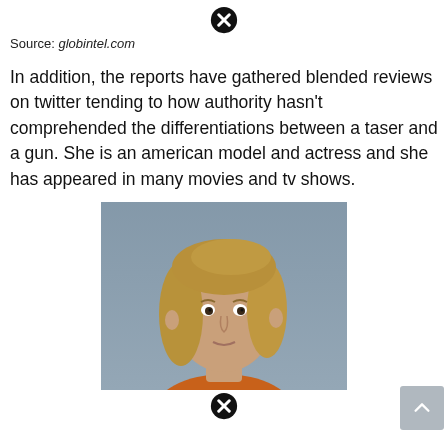[Figure (other): Close/dismiss icon (circled X) at top center of page]
Source: globintel.com
In addition, the reports have gathered blended reviews on twitter tending to how authority hasn’t comprehended the differentiations between a taser and a gun. She is an american model and actress and she has appeared in many movies and tv shows.
[Figure (photo): Mugshot-style photo of a middle-aged woman with shoulder-length blonde hair wearing an orange top, against a grey background]
[Figure (other): Close/dismiss icon (circled X) at bottom center of photo]
[Figure (other): Scroll-up button (grey square with upward caret) at bottom right]